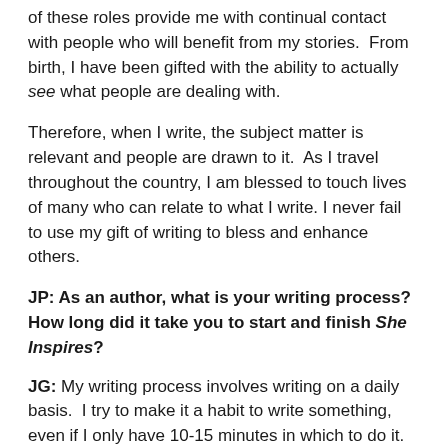of these roles provide me with continual contact with people who will benefit from my stories.  From birth, I have been gifted with the ability to actually see what people are dealing with.
Therefore, when I write, the subject matter is relevant and people are drawn to it.  As I travel throughout the country, I am blessed to touch lives of many who can relate to what I write. I never fail to use my gift of writing to bless and enhance others.
JP: As an author, what is your writing process? How long did it take you to start and finish She Inspires?
JG: My writing process involves writing on a daily basis.  I try to make it a habit to write something, even if I only have 10-15 minutes in which to do it. When an idea for a book or story line enters my mind, I immediately write it down. Then I make a basic outline of what I see and feel with regard to that particular storyline.